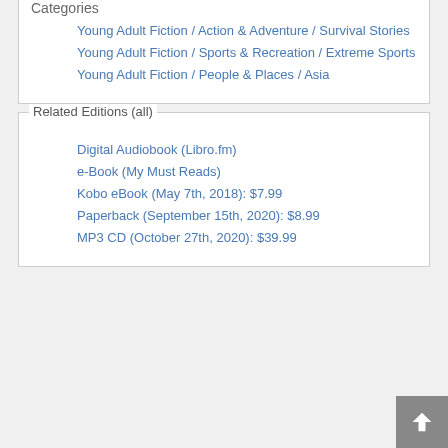Categories
Young Adult Fiction / Action & Adventure / Survival Stories
Young Adult Fiction / Sports & Recreation / Extreme Sports
Young Adult Fiction / People & Places / Asia
Related Editions (all)
Digital Audiobook (Libro.fm)
e-Book (My Must Reads)
Kobo eBook (May 7th, 2018): $7.99
Paperback (September 15th, 2020): $8.99
MP3 CD (October 27th, 2020): $39.99